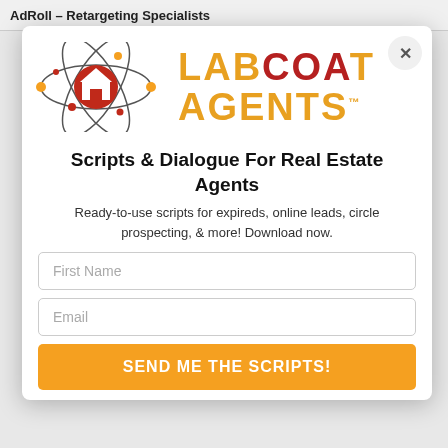AdRoll – Retargeting Specialists
[Figure (logo): Lab Coat Agents logo: atomic orbit graphic with house icon in center, beside the text LABCOAT AGENTS in orange and dark red bold letters with TM mark]
Scripts & Dialogue For Real Estate Agents
Ready-to-use scripts for expireds, online leads, circle prospecting, & more! Download now.
First Name
Email
SEND ME THE SCRIPTS!